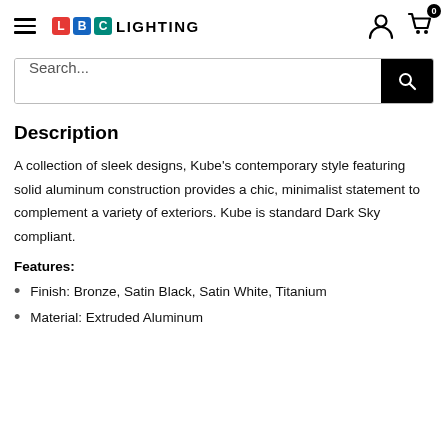LBC LIGHTING
Search...
Description
A collection of sleek designs, Kube's contemporary style featuring solid aluminum construction provides a chic, minimalist statement to complement a variety of exteriors. Kube is standard Dark Sky compliant.
Features:
Finish: Bronze, Satin Black, Satin White, Titanium
Material: Extruded Aluminum